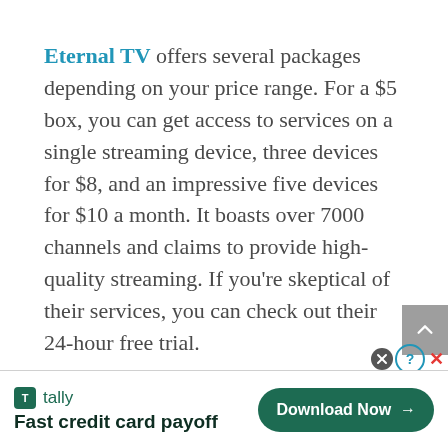Eternal TV offers several packages depending on your price range. For a $5 box, you can get access to services on a single streaming device, three devices for $8, and an impressive five devices for $10 a month. It boasts over 7000 channels and claims to provide high-quality streaming. If you're skeptical of their services, you can check out their 24-hour free trial.
[Figure (other): Advertisement banner for Tally app: dark green Tally logo icon, 'tally' text, tagline 'Fast credit card payoff', and a dark green 'Download Now →' button on the right. Close and help icons in top right corner.]